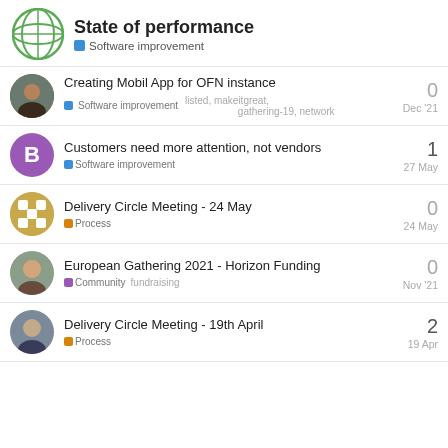State of performance — Software improvement
Creating Mobil App for OFN instance — Software improvement — listed, makeitgreat, gathering-19, network — Dec '21 — 0 replies
Customers need more attention, not vendors — Software improvement — 27 May — 1 reply
Delivery Circle Meeting - 24 May — Process — 24 May — 0 replies
European Gathering 2021 - Horizon Funding — Community — fundraising — Nov '21 — 0 replies
Delivery Circle Meeting - 19th April — Process — 19 Apr — 2 replies